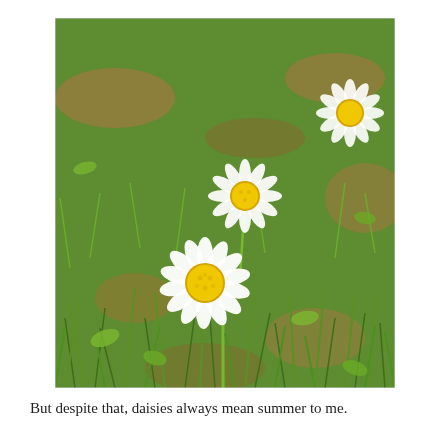[Figure (photo): Close-up photograph of white daisy flowers with yellow centers growing in green grass and dry brown vegetation. Two daisies are prominently visible in the foreground and middle ground, with a third daisy visible in the upper right corner.]
But despite that, daisies always mean summer to me.